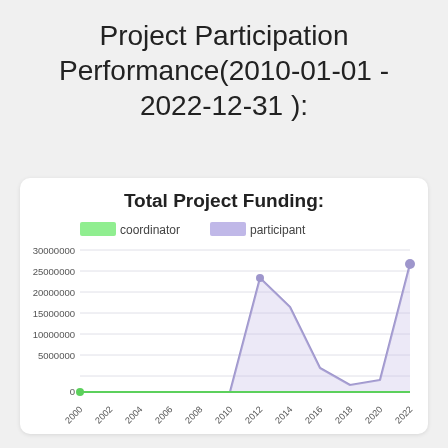Project Participation Performance(2010-01-01 - 2022-12-31 ):
[Figure (line-chart): Total Project Funding:]